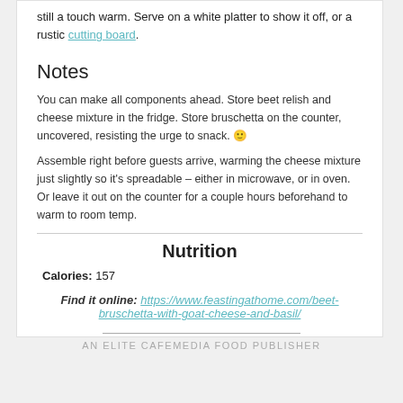still a touch warm. Serve on a white platter to show it off, or a rustic cutting board.
Notes
You can make all components ahead. Store beet relish and cheese mixture in the fridge. Store bruschetta on the counter, uncovered, resisting the urge to snack. 🙂
Assemble right before guests arrive, warming the cheese mixture just slightly so it's spreadable – either in microwave, or in oven. Or leave it out on the counter for a couple hours beforehand to warm to room temp.
Nutrition
Calories: 157
Find it online: https://www.feastingathome.com/beet-bruschetta-with-goat-cheese-and-basil/
AN ELITE CAFEMEDIA FOOD PUBLISHER